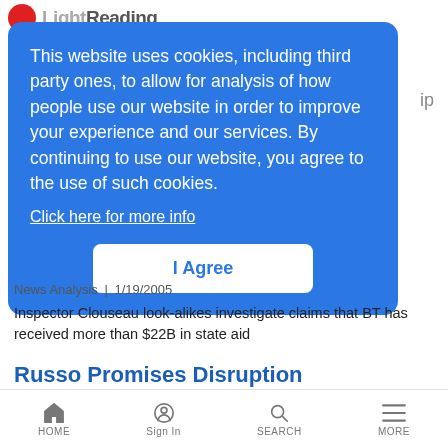LightReading
This website uses cookies, including third party ones, to allow for analysis of how people use our website in order to improve your experience and our services. By continuing to use our website, you agree to the use of such cookies.
Click here for more info
I Agree
ip
News Analysis | 1/19/2005
Inspector Clouseau look-alikes investigate claims that BT has received more than $22B in state aid
Russo Promises Disruption
LR Mobile News Analysis | 1/19/2005
HOME  Sign In  SEARCH  MORE